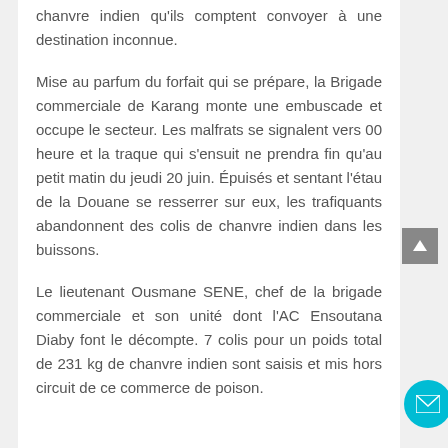chanvre indien qu'ils comptent convoyer à une destination inconnue.
Mise au parfum du forfait qui se prépare, la Brigade commerciale de Karang monte une embuscade et occupe le secteur. Les malfrats se signalent vers 00 heure et la traque qui s'ensuit ne prendra fin qu'au petit matin du jeudi 20 juin. Épuisés et sentant l'étau de la Douane se resserrer sur eux, les trafiquants abandonnent des colis de chanvre indien dans les buissons.
Le lieutenant Ousmane SENE, chef de la brigade commerciale et son unité dont l'AC Ensoutana Diaby font le décompte. 7 colis pour un poids total de 231 kg de chanvre indien sont saisis et mis hors circuit de ce commerce de poison.